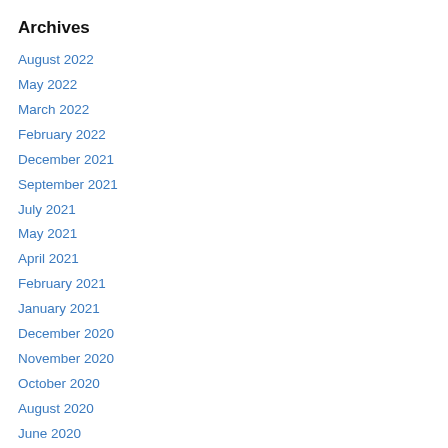Archives
August 2022
May 2022
March 2022
February 2022
December 2021
September 2021
July 2021
May 2021
April 2021
February 2021
January 2021
December 2020
November 2020
October 2020
August 2020
June 2020
May 2020
February 2020